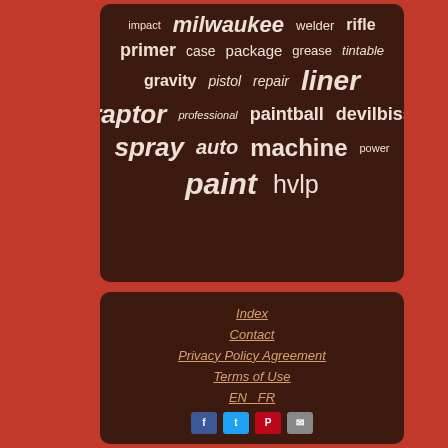[Figure (infographic): Tag cloud on dark brown background with keywords: impact, milwaukee, welder, rifle, primer, case, package, grease, tintable, gravity, pistol, repair, liner, raptor, professional, paintball, devilbiss, spray, auto, machine, power, paint, hvlp]
Index
Contact
Privacy Policy Agreement
Terms of Use
EN  FR